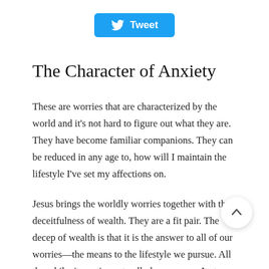[Figure (other): Twitter Tweet button with bird icon, blue rounded rectangle]
The Character of Anxiety
These are worries that are characterized by the world and it's not hard to figure out what they are. They have become familiar companions. They can be reduced in any age to, how will I maintain the lifestyle I've set my affections on.
Jesus brings the worldly worries together with the deceitfulness of wealth. They are a fit pair. The decep of wealth is that it is the answer to all of our worries—the means to the lifestyle we pursue. All the while, it continues to allude our grasp. It stays just beyond our reach. It's